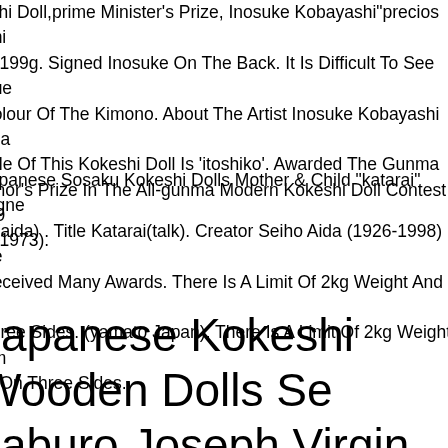eshi Doll,prime Minister's Prize, Inosuke Kobayashi"precios Chi, 3199g. Signed Inosuke On The Back. It Is Difficult To See Due Colour Of The Kimono. About The Artist Inosuke Kobayashi (ma Title Of This Kokeshi Doll Is 'itoshiko'. Awarded The Gunma ernor's Prize In The All-gunma Modern Kokeshi Doll Contest (19 2, 1973).
Japanese Sosaku Kokeshi Dolls Mother & Child "katarai" Signe o (aida) . Title Katarai(talk). Creator Seiho Aida (1926-1998) He Received Many Awards. There Is A Limit Of 2kg Weight And 60 Three Sides. (yamato Japan). There Is A Limit Of 2kg Weight Am m On Three Sides.
Japanese Kokeshi Wooden Dolls Se saburo Joseph Virgin Mary Baby esus Nativity